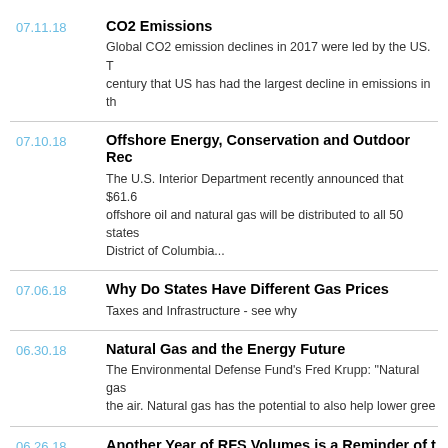07.11.18 | CO2 Emissions | Global CO2 emission declines in 2017 were led by the US. T... century that US has had the largest decline in emissions in th...
07.10.18 | Offshore Energy, Conservation and Outdoor Rec... | The U.S. Interior Department recently announced that $61.6... offshore oil and natural gas will be distributed to all 50 states... District of Columbia...
07.06.18 | Why Do States Have Different Gas Prices | Taxes and Infrastructure - see why
06.30.18 | Natural Gas and the Energy Future | The Environmental Defense Fund's Fred Krupp: "Natural gas... the air. Natural gas has the potential to also help lower gree...
06.26.18 | Another Year of RFS Volumes is a Reminder of t... | Today the American Petroleum Institute commended EPA fo... of the reallocation question on small refinery waivers in the p... obligations under the Renewable Fuel Standard, but said the... needs to be reformed.
06.26.18 | IHS Markit: US energy data - ...